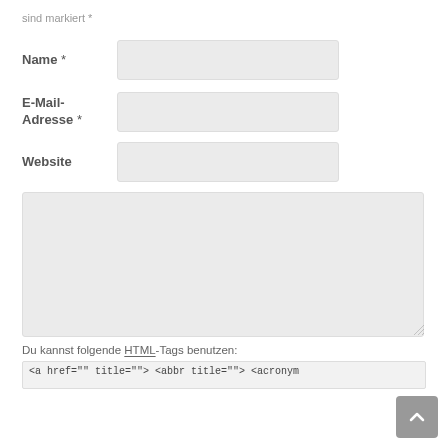sind markiert *
Name *
E-Mail-Adresse *
Website
Du kannst folgende HTML-Tags benutzen:
<a href="" title=""> <abbr title=""> <acronym